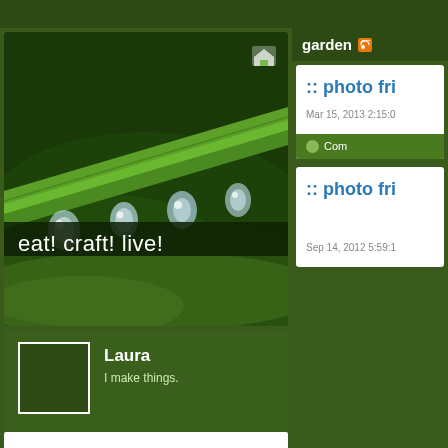[Figure (photo): Close-up photo of green plant stem with water droplets hanging from it, macro photography on dark green background]
eat! craft! live!
garden (RSS)
:: photo fri
Mar 15, 2013 2:15:0
Com
:: photo fri
Sep 14, 2012 5:59:1
Laura
I make things.
1
FOLLOWING
0
FOLLOWERS
Follow